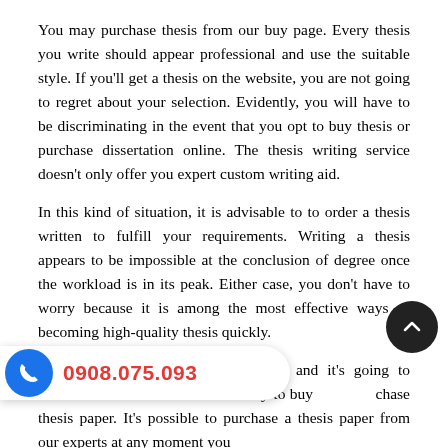You may purchase thesis from our buy page. Every thesis you write should appear professional and use the suitable style. If you'll get a thesis on the website, you are not going to regret about your selection. Evidently, you will have to be discriminating in the event that you opt to buy thesis or purchase dissertation online. The thesis writing service doesn't only offer you expert custom writing aid.
In this kind of situation, it is advisable to to order a thesis written to fulfill your requirements. Writing a thesis appears to be impossible at the conclusion of degree once the workload is in its peak. Either case, you don't have to worry because it is among the most effective ways of becoming high-quality thesis quickly.
Your thesis paper will be interesting and it's going to be your desire. A ideal way to buy purchase thesis paper. It's possible to purchase a thesis paper from our experts at any moment you